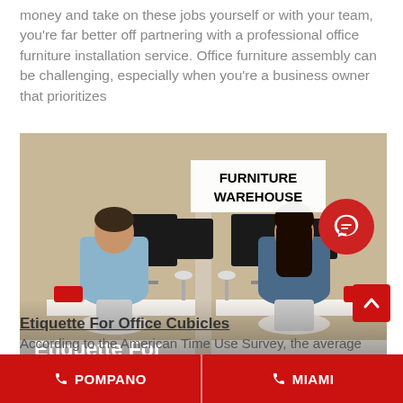money and take on these jobs yourself or with your team, you're far better off partnering with a professional office furniture installation service. Office furniture assembly can be challenging, especially when you're a business owner that prioritizes
[Figure (photo): Two office workers seen from behind, sitting at cubicle workstations with computers and red telephones. A sign reading 'FURNITURE WAREHOUSE' is visible. Text overlay reads 'Etiquette For Office Cubicles'.]
Etiquette For Office Cubicles
According to the American Time Use Survey, the average
POMPANO   MIAMI